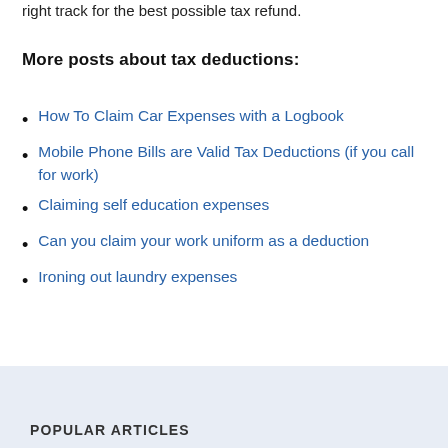right track for the best possible tax refund.
More posts about tax deductions:
How To Claim Car Expenses with a Logbook
Mobile Phone Bills are Valid Tax Deductions (if you call for work)
Claiming self education expenses
Can you claim your work uniform as a deduction
Ironing out laundry expenses
POPULAR ARTICLES